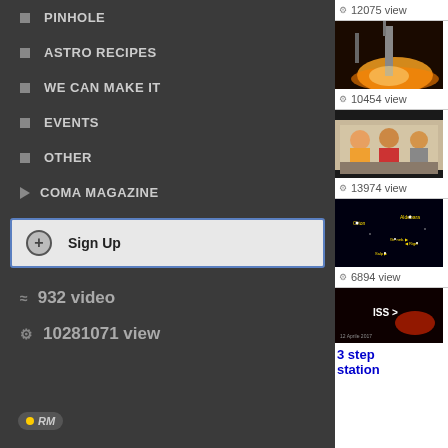PINHOLE
ASTRO RECIPES
WE CAN MAKE IT
EVENTS
OTHER
COMA MAGAZINE
Sign Up
≈  932 video
⚙  10281071 view
12075 view
[Figure (photo): Rocket launch at night with bright flames]
10454 view
[Figure (photo): People sitting at a dinner table]
13974 view
[Figure (photo): Star map / night sky with labeled stars and constellations]
6894 view
[Figure (photo): ISS observation video thumbnail with red elements]
3 step station